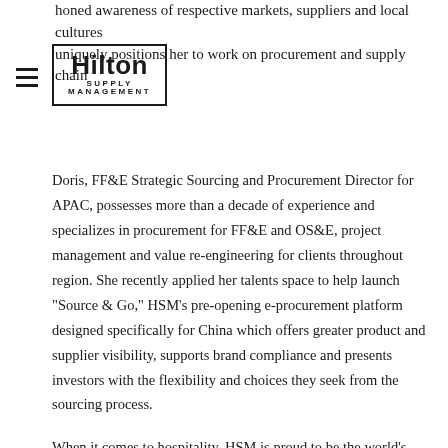honed awareness of respective markets, suppliers and local cultures uniquely positions her to work on procurement and supply chain
[Figure (logo): Hilton Supply Management logo with hamburger menu icon]
Doris, FF&E Strategic Sourcing and Procurement Director for APAC, possesses more than a decade of experience and specializes in procurement for FF&E and OS&E, project management and value re-engineering for clients throughout region. She recently applied her talents space to help launch "Source & Go," HSM's pre-opening e-procurement platform designed specifically for China which offers greater product and supplier visibility, supports brand compliance and presents investors with the flexibility and choices they seek from the sourcing process.
When it comes to hospitality, HSM is proud to be the world's only truly global procurement powerhouse, and we couldn't do it without the talented team members who support our customers every step of the way. With nine regional offices including APAC locations in Singapore, Shanghai and Shenzhen HSM is making the